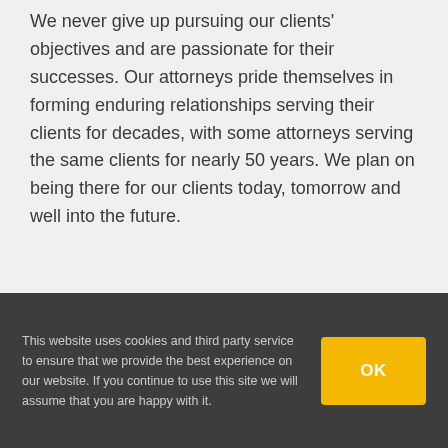We never give up pursuing our clients' objectives and are passionate for their successes. Our attorneys pride themselves in forming enduring relationships serving their clients for decades, with some attorneys serving the same clients for nearly 50 years. We plan on being there for our clients today, tomorrow and well into the future.
Professionalism.
This website uses cookies and third party service to ensure that we provide the best experience on our website. If you continue to use this site we will assume that you are happy with it.